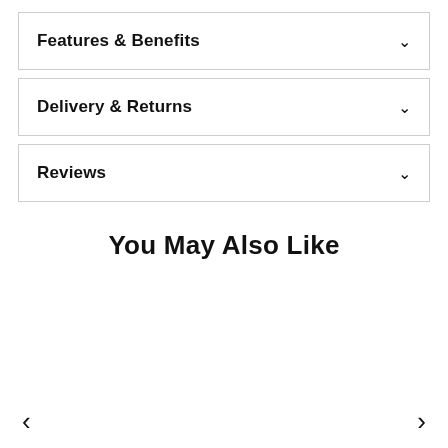Features & Benefits
Delivery & Returns
Reviews
You May Also Like